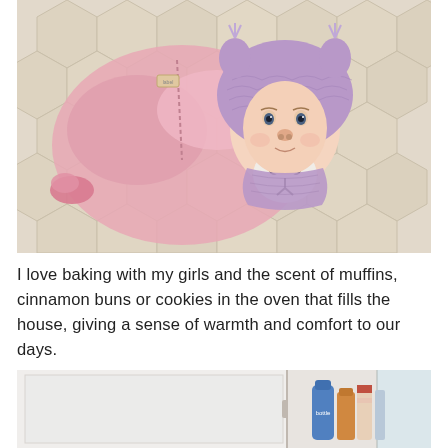[Figure (photo): Overhead view of a baby lying on a tiled floor, wearing a pink coat and a purple knitted animal (sheep/bear) hat with a white face emblem. The tiles are cream/beige hexagonal pattern.]
I love baking with my girls and the scent of muffins, cinnamon buns or cookies in the oven that fills the house, giving a sense of warmth and comfort to our days.
[Figure (photo): Partial view of a kitchen or room interior showing a white door/wall and some bottles or items on a surface near a window.]